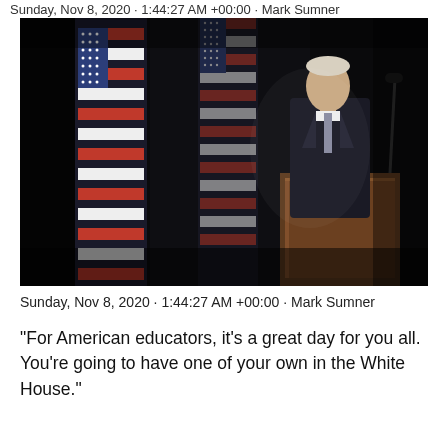Sunday, Nov 8, 2020 · 1:44:27 AM +00:00 · Mark Sumner
[Figure (photo): A person in a dark suit standing at a wooden podium speaking, with two American flags in the background against a dark backdrop. A microphone is visible to the right.]
Sunday, Nov 8, 2020 · 1:44:27 AM +00:00 · Mark Sumner
“For American educators, it’s a great day for you all. You’re going to have one of your own in the White House.”